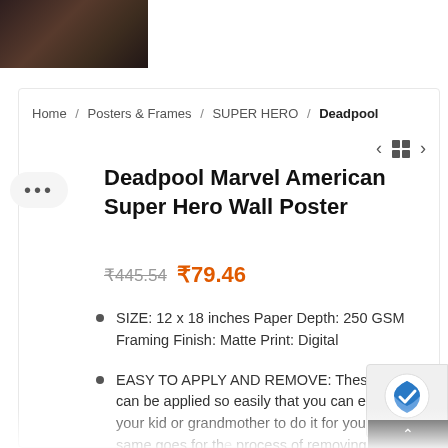[Figure (photo): Deadpool movie/character dark themed product image thumbnail]
Home / Posters & Frames / SUPER HERO / Deadpool
Deadpool Marvel American Super Hero Wall Poster
₹445.54 ₹79.46
SIZE: 12 x 18 inches Paper Depth: 250 GSM Framing Finish: Matte Print: Digital
EASY TO APPLY AND REMOVE: These posters can be applied so easily that you can even ask your kid or grandmother to do it for you. The same goes for the process of removing them.
MOTIVATIONAL SET: Sometimes we just need a little...